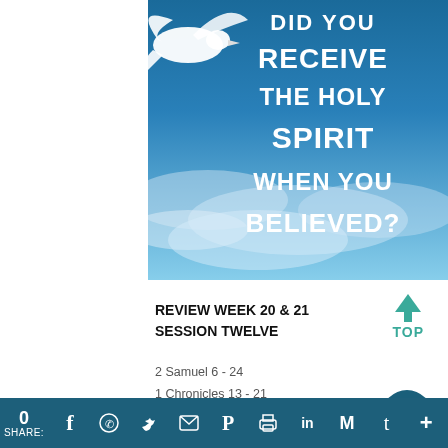[Figure (photo): Book cover image showing a white dove flying against a blue sky with clouds, with bold white text asking 'DID YOU RECEIVE THE HOLY SPIRIT WHEN YOU BELIEVED?']
REVIEW WEEK 20 & 21
SESSION TWELVE
2 Samuel 6 - 24
1 Chronicles 13 - 21
Psalm 3, 18, 21, 32, 34, 51, 60, 89, 12...
0 SHARE: [social icons: Facebook, WhatsApp, Twitter, Email, Pinterest, Print, LinkedIn, Gmail, Tumblr, More]